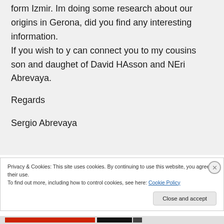form Izmir. Im doing some research about our origins in Gerona, did you find any interesting information.
If you wish to y can connect you to my cousins son and daughet of David HAsson and NEri Abrevaya.

Regards

Sergio Abrevaya
Privacy & Cookies: This site uses cookies. By continuing to use this website, you agree to their use.
To find out more, including how to control cookies, see here: Cookie Policy